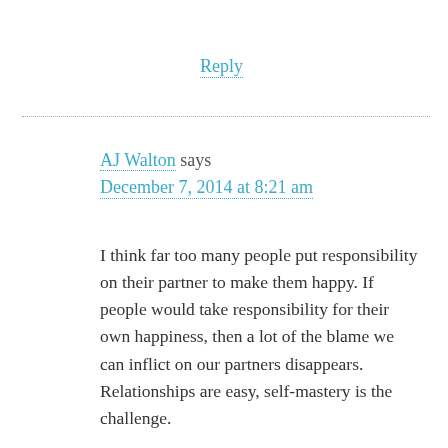Reply
AJ Walton says
December 7, 2014 at 8:21 am
I think far too many people put responsibility on their partner to make them happy. If people would take responsibility for their own happiness, then a lot of the blame we can inflict on our partners disappears.
Relationships are easy, self-mastery is the challenge.